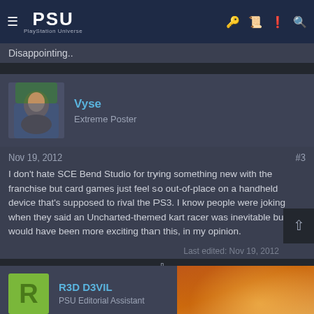PSU PlayStation Universe
Disappointing..
Vyse
Extreme Poster
Nov 19, 2012	#3
I don't hate SCE Bend Studio for trying something new with the franchise but card games just feel so out-of-place on a handheld device that's supposed to rival the PS3. I know people were joking when they said an Uncharted-themed kart racer was inevitable but it would have been more exciting than this, in my opinion.
Last edited: Nov 19, 2012
R3D D3VIL
PSU Editorial Assistant
[Figure (screenshot): Advertisement overlay: MULTIVERSUS HAS DEBUTED AS THE BEST-SELLING GAME IN THE U.S. LAST MONTH]
Nov 19, 2012